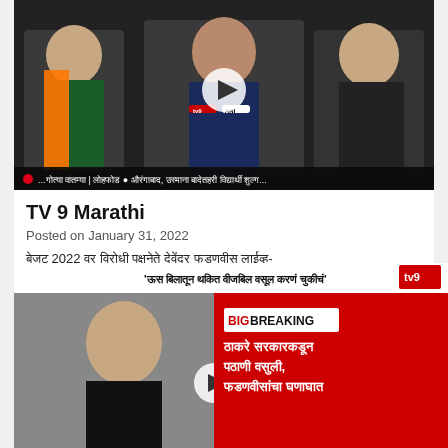[Figure (screenshot): TV news video thumbnail showing politicians being interviewed with TV9 and ANI microphones, news ticker at bottom]
TV 9 Marathi
Posted on January 31, 2022
बेजट 2022 वर विरोधी पक्षनेते देवेंद्र फडणवीस लाईव्ह-
January 2022
[Figure (screenshot): TV9 news broadcast screenshot showing BIG BREAKING news about Thackeray government and Fadnavis, with text in Marathi]